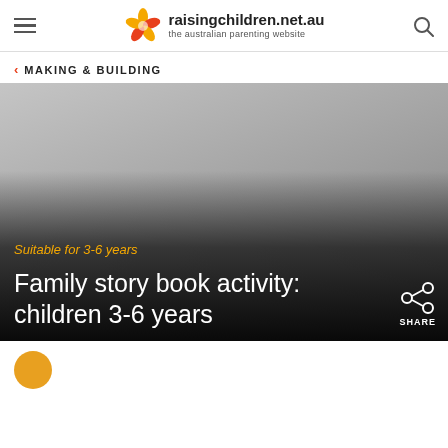raisingchildren.net.au — the australian parenting website
< MAKING & BUILDING
[Figure (photo): Hero image of a family activity, fading to dark at the bottom with overlaid text]
Suitable for 3-6 years
Family story book activity: children 3-6 years
[Figure (other): Orange circular avatar icon at the bottom left, partially visible]